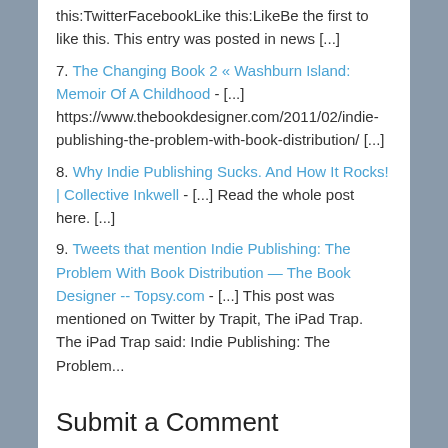this:TwitterFacebookLike this:LikeBe the first to like this. This entry was posted in news [...]
7. The Changing Book 2 « Washburn Island: Memoir Of A Childhood - [...] https://www.thebookdesigner.com/2011/02/indie-publishing-the-problem-with-book-distribution/ [...]
8. Why Indie Publishing Sucks. And How It Rocks! | Collective Inkwell - [...] Read the whole post here. [...]
9. Tweets that mention Indie Publishing: The Problem With Book Distribution — The Book Designer -- Topsy.com - [...] This post was mentioned on Twitter by Trapit, The iPad Trap. The iPad Trap said: Indie Publishing: The Problem...
Submit a Comment
Your email address will not be published. Required